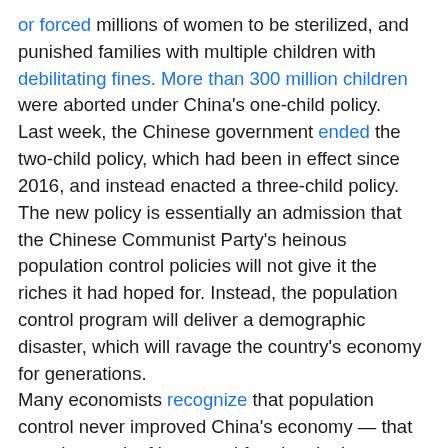or forced millions of women to be sterilized, and punished families with multiple children with debilitating fines. More than 300 million children were aborted under China's one-child policy.
Last week, the Chinese government ended the two-child policy, which had been in effect since 2016, and instead enacted a three-child policy. The new policy is essentially an admission that the Chinese Communist Party's heinous population control policies will not give it the riches it had hoped for. Instead, the population control program will deliver a demographic disaster, which will ravage the country's economy for generations.
Many economists recognize that population control never improved China's economy — that was the result of increased freedom in the marketplace and foreign investment. And the Malthusian crisis the government was so desperately trying to avoid with population control was an entirely false